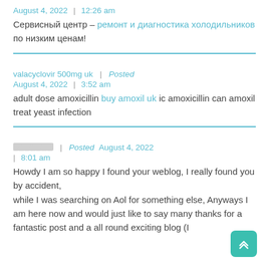August 4, 2022 | 12:26 am
Сервисный центр – ремонт и диагностика холодильников по низким ценам!
valacyclovir 500mg uk | Posted August 4, 2022 | 3:52 am
adult dose amoxicillin buy amoxil uk ic amoxicillin can amoxil treat yeast infection
[obfuscated] | Posted August 4, 2022 | 8:01 am
Howdy I am so happy I found your weblog, I really found you by accident, while I was searching on Aol for something else, Anyways I am here now and would just like to say many thanks for a fantastic post and a all round exciting blog (I